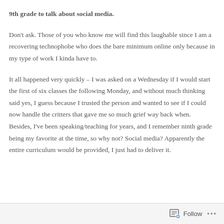9th grade to talk about social media. Don't ask. Those of you who know me will find this laughable since I am a recovering technophobe who does the bare minimum online only because in my type of work I kinda have to. It all happened very quickly – I was asked on a Wednesday if I would start the first of six classes the following Monday, and without much thinking said yes, I guess because I trusted the person and wanted to see if I could now handle the critters that gave me so much grief way back when. Besides, I've been speaking/teaching for years, and I remember ninth grade being my favorite at the time, so why not? Social media? Apparently the entire curriculum would be provided, I just had to deliver it.
Follow ···